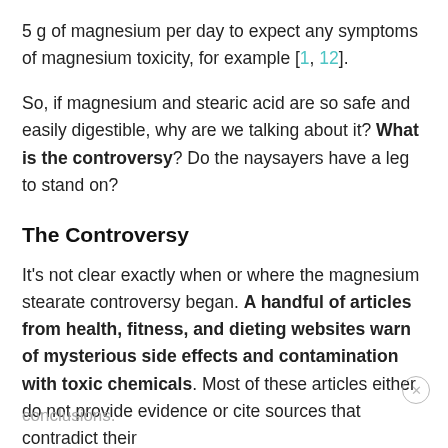5 g of magnesium per day to expect any symptoms of magnesium toxicity, for example [1, 12].
So, if magnesium and stearic acid are so safe and easily digestible, why are we talking about it? What is the controversy? Do the naysayers have a leg to stand on?
The Controversy
It’s not clear exactly when or where the magnesium stearate controversy began. A handful of articles from health, fitness, and dieting websites warn of mysterious side effects and contamination with toxic chemicals. Most of these articles either do not provide evidence or cite sources that contradict their conclusions.
conclusions.